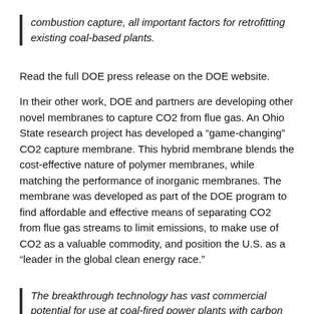combustion capture, all important factors for retrofitting existing coal-based plants.
Read the full DOE press release on the DOE website.
In their other work, DOE and partners are developing other novel membranes to capture CO2 from flue gas. An Ohio State research project has developed a “game-changing” CO2 capture membrane. This hybrid membrane blends the cost-effective nature of polymer membranes, while matching the performance of inorganic membranes. The membrane was developed as part of the DOE program to find affordable and effective means of separating CO2 from flue gas streams to limit emissions, to make use of CO2 as a valuable commodity, and position the U.S. as a “leader in the global clean energy race.”
The breakthrough technology has vast commercial potential for use at coal-fired power plants with carbon capture, utilization, and storage (CCUS), a key element in national efforts to mitigate climate change. […]
Ohio State’s new hybrid membrane consists of a thin, inorganic “zeolite Y” layer sandwiched between an inorganic intermediate and